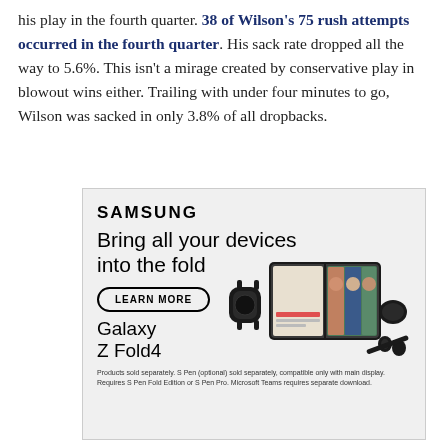his play in the fourth quarter. 38 of Wilson's 75 rush attempts occurred in the fourth quarter. His sack rate dropped all the way to 5.6%. This isn't a mirage created by conservative play in blowout wins either. Trailing with under four minutes to go, Wilson was sacked in only 3.8% of all dropbacks.
[Figure (other): Samsung advertisement for Galaxy Z Fold4. Text: SAMSUNG. Bring all your devices into the fold. LEARN MORE button. Galaxy Z Fold4. Shows a smartwatch, a folded phone with video call on screen, earbuds, and a stylus pen. Footnote: Products sold separately. S Pen (optional) sold separately, compatible only with main display. Requires S Pen Fold Edition or S Pen Pro. Microsoft Teams requires separate download.]